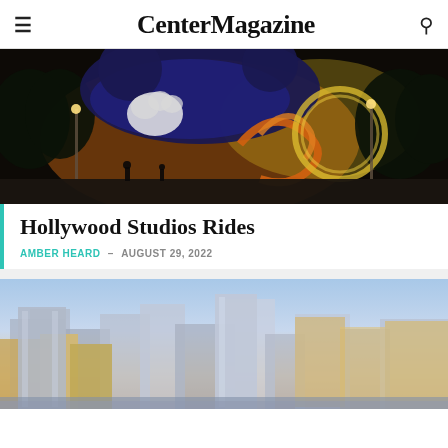CenterMagazine
[Figure (photo): Night photo of a large Mickey Mouse sorcerer hat sculpture illuminated at Disney Hollywood Studios with glowing orange and blue lights and trees in background]
Hollywood Studios Rides
AMBER HEARD – AUGUST 29, 2022
[Figure (photo): Daytime skyline photo of a modern city with tall skyscrapers and office buildings against a blue sky with warm sunset lighting]